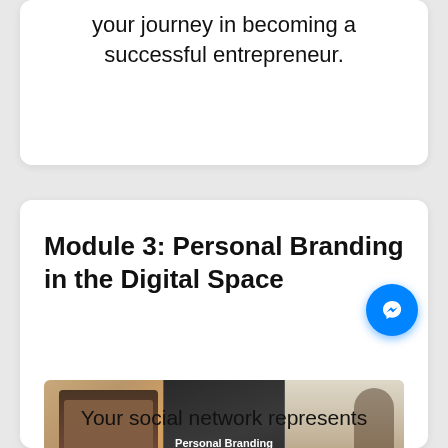your journey in becoming a successful entrepreneur.
Module 3: Personal Branding in the Digital Space
[Figure (photo): Three-panel image strip: left panel shows hands holding a tablet with social media content, center panel shows dark background with 'Personal Branding in the DiGiTAL Space' text overlay, right panel shows a woman working on a laptop.]
Your social network represents